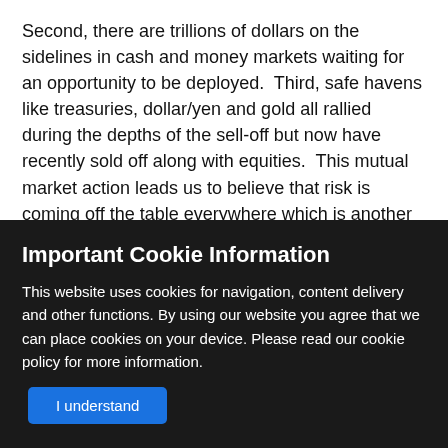Second, there are trillions of dollars on the sidelines in cash and money markets waiting for an opportunity to be deployed.  Third, safe havens like treasuries, dollar/yen and gold all rallied during the depths of the sell-off but now have recently sold off along with equities.  This mutual market action leads us to believe that risk is coming off the table everywhere which is another sign of possible capitulation.  Lastly, the dividend yield of the S&P 500 is significantly higher than the 10-year treasury which is currently 0.95%.  This has historically been a long-term buy signal for investors.

Timing and best guesses aside, our clients financial plans and
Important Cookie Information
This website uses cookies for navigation, content delivery and other functions. By using our website you agree that we can place cookies on your device. Please read our cookie policy for more information.
I understand